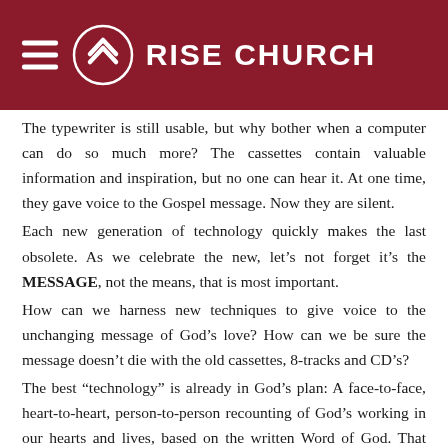RISE CHURCH
The typewriter is still usable, but why bother when a computer can do so much more? The cassettes contain valuable information and inspiration, but no one can hear it. At one time, they gave voice to the Gospel message. Now they are silent.
Each new generation of technology quickly makes the last obsolete. As we celebrate the new, let’s not forget it’s the MESSAGE, not the means, that is most important.
How can we harness new techniques to give voice to the unchanging message of God’s love? How can we be sure the message doesn’t die with the old cassettes, 8-tracks and CD’s?
The best “technology” is already in God’s plan: A face-to-face, heart-to-heart, person-to-person recounting of God’s working in our hearts and lives, based on the written Word of God. That Word, written in our hearts, and passed on to others, will live